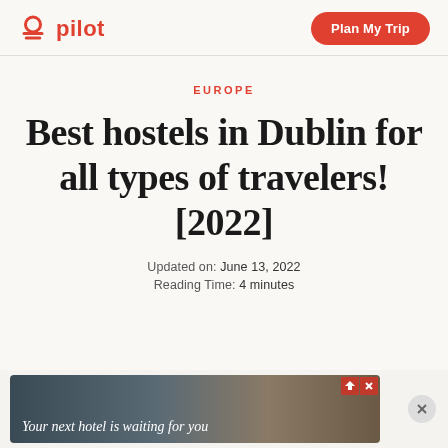pilot | Plan My Trip
EUROPE
Best hostels in Dublin for all types of travelers! [2022]
Updated on:  June 13, 2022
Reading Time:  4 minutes
[Figure (screenshot): Advertisement banner: 'Your next hotel is waiting for you']